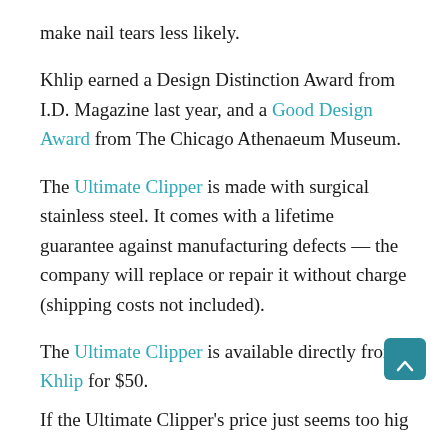make nail tears less likely.
Khlip earned a Design Distinction Award from I.D. Magazine last year, and a Good Design Award from The Chicago Athenaeum Museum.
The Ultimate Clipper is made with surgical stainless steel. It comes with a lifetime guarantee against manufacturing defects — the company will replace or repair it without charge (shipping costs not included).
The Ultimate Clipper is available directly from Khlip for $50.
If the Ultimate Clipper's price just seems too high